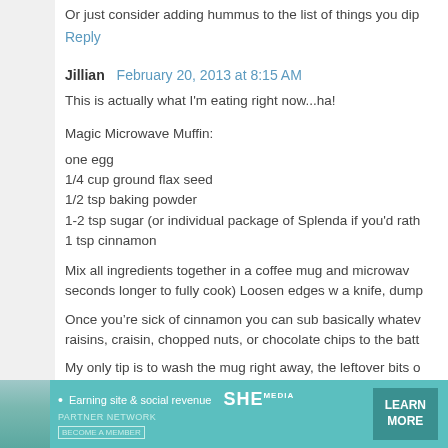Or just consider adding hummus to the list of things you dip
Reply
Jillian   February 20, 2013 at 8:15 AM
This is actually what I'm eating right now...ha!
Magic Microwave Muffin:
one egg
1/4 cup ground flax seed
1/2 tsp baking powder
1-2 tsp sugar (or individual package of Splenda if you'd rath
1 tsp cinnamon
Mix all ingredients together in a coffee mug and microwav seconds longer to fully cook) Loosen edges w a knife, dump
Once you're sick of cinnamon you can sub basically whatev raisins, craisin, chopped nuts, or chocolate chips to the batt
My only tip is to wash the mug right away, the leftover bits o
Have fun!
[Figure (infographic): Advertisement banner for SHE Partner Network. Teal/green background with woman photo, text 'Earning site & social revenue', SHE logo, PARTNER NETWORK text, BECOME A MEMBER text, and LEARN MORE button.]